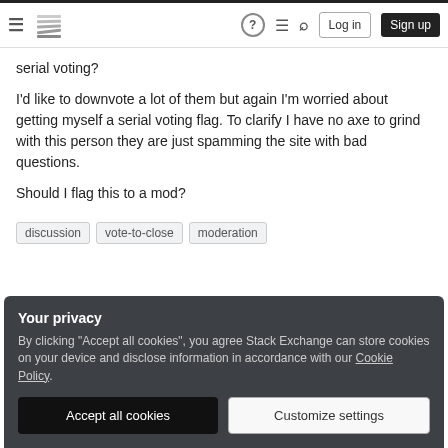Stack Exchange navigation bar with hamburger menu, logo, help, chat, search icons, Log in and Sign up buttons
serial voting?
I'd like to downvote a lot of them but again I'm worried about getting myself a serial voting flag. To clarify I have no axe to grind with this person they are just spamming the site with bad questions.
Should I flag this to a mod?
discussion
vote-to-close
moderation
Your privacy
By clicking "Accept all cookies", you agree Stack Exchange can store cookies on your device and disclose information in accordance with our Cookie Policy.
Accept all cookies
Customize settings